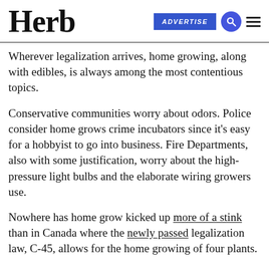Herb | ADVERTISE
Wherever legalization arrives, home growing, along with edibles, is always among the most contentious topics.
Conservative communities worry about odors. Police consider home grows crime incubators since it’s easy for a hobbyist to go into business. Fire Departments, also with some justification, worry about the high-pressure light bulbs and the elaborate wiring growers use.
Nowhere has home grow kicked up more of a stink than in Canada where the newly passed legalization law, C-45, allows for the home growing of four plants.
Quebec lawmakers, who have been notably unenthusiastic about legalization, fought